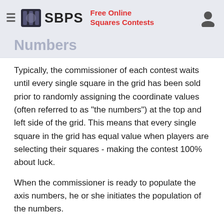SBPS — Free Online Squares Contests
Numbers
Typically, the commissioner of each contest waits until every single square in the grid has been sold prior to randomly assigning the coordinate values (often referred to as "the numbers") at the top and left side of the grid. This means that every single square in the grid has equal value when players are selecting their squares - making the contest 100% about luck.
When the commissioner is ready to populate the axis numbers, he or she initiates the population of the numbers.
This can be done randomly using the website with a simple, instant push of a single button.
Alternatively, the commissioner can manually enter